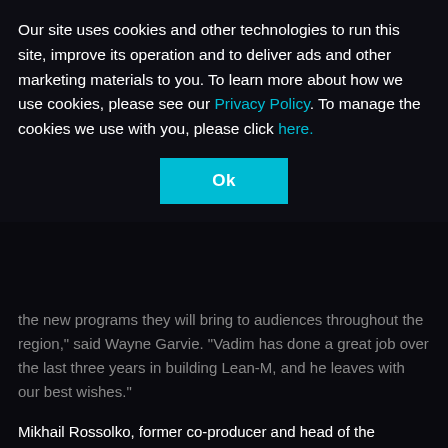Our site uses cookies and other technologies to run this site, improve its operation and to deliver ads and other marketing materials to you. To learn more about how we use cookies, please see our Privacy Policy. To manage the cookies we use with you, please click here.
Ok
the new programs they will bring to audiences throughout the region," said Wayne Garvie. "Vadim has done a great job over the last three years in building Lean-M, and he leaves with our best wishes."
Mikhail Rossolko, former co-producer and head of the creative team at the Sergei Zhigunov Production Center, has nearly 20 years of experience in Russian series and feature film production. Prior to Sergei Zhigunov, he held senior roles in marketing and production across the industry at NTV Broadcasting Company, AMEDIA Production Company, Channel One Russia International, TNT Channel, and Pragma PR agency.